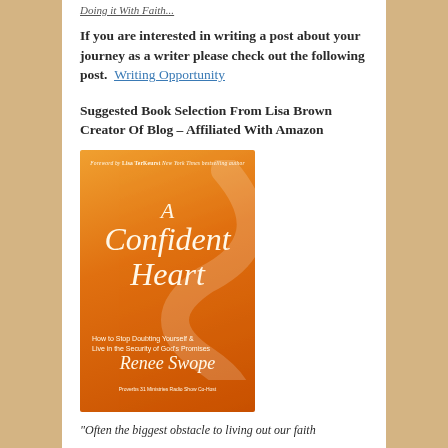If you are interested in writing a post about your journey as a writer please check out the following post.  Writing Opportunity
Suggested Book Selection From Lisa Brown Creator Of Blog – Affiliated With Amazon
[Figure (photo): Book cover of 'A Confident Heart: How to Stop Doubting Yourself & Live in the Security of God's Promises' by Renee Swope, with an orange gradient background and decorative swirl, foreword by Lisa TerKeurst.]
"Often the biggest obstacle to living out our faith